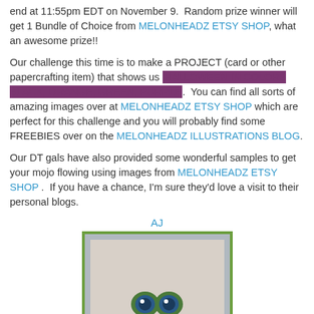end at 11:55pm EDT on November 9.  Random prize winner will get 1 Bundle of Choice from MELONHEADZ ETSY SHOP, what an awesome prize!!
Our challenge this time is to make a PROJECT (card or other papercrafting item) that shows us HALLOWEEN IN COLORS BLACK, ORANGE, GREEN, PURPLE.  You can find all sorts of amazing images over at MELONHEADZ ETSY SHOP which are perfect for this challenge and you will probably find some FREEBIES over on the MELONHEADZ ILLUSTRATIONS BLOG.
Our DT gals have also provided some wonderful samples to get your mojo flowing using images from MELONHEADZ ETSY SHOP .  If you have a chance, I'm sure they'd love a visit to their personal blogs.
AJ
[Figure (photo): A handmade card with green border and inner frame, showing a cartoon character with large green eyes at the bottom]